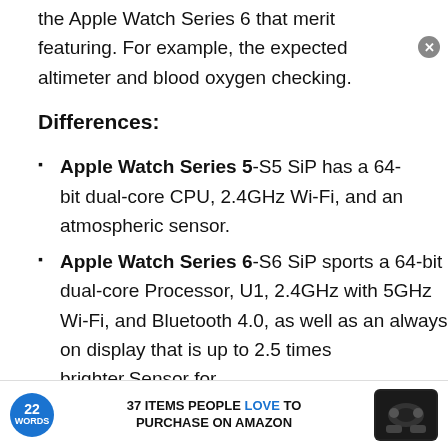the Apple Watch Series 6 that merit featuring. For example, the expected altimeter and blood oxygen checking.
Differences:
Apple Watch Series 5-S5 SiP has a 64-bit dual-core CPU, 2.4GHz Wi-Fi, and an atmospheric sensor.
Apple Watch Series 6-S6 SiP sports a 64-bit dual-core Processor, U1, 2.4GHz with 5GHz Wi-Fi, and Bluetooth 4.0, as well as an always-on display that is up to 2.5 times brighter.Sensor for blood oxygen levels. Always-on altimeter. Better...
[Figure (other): Advertisement banner: 22 Words logo, text '37 ITEMS PEOPLE LOVE TO PURCHASE ON AMAZON', earbuds product image]